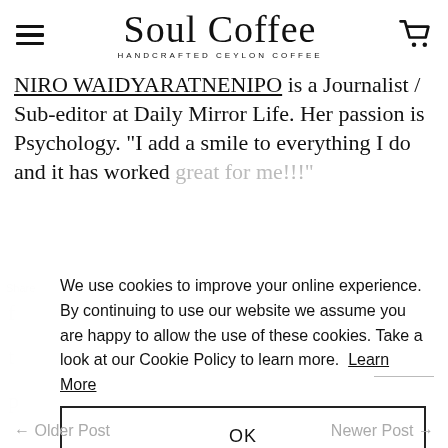Soul Coffee — HANDCRAFTED CEYLON COFFEE
NIRO WAIDYARATNENIРО is a Journalist / Sub-editor at Daily Mirror Life. Her passion is Psychology. "I add a smile to everything I do and it has worked great for me!!!"
We use cookies to improve your online experience. By continuing to use our website we assume you are happy to allow the use of these cookies. Take a look at our Cookie Policy to learn more. Learn More
OK
← Older Post    Newer Post →